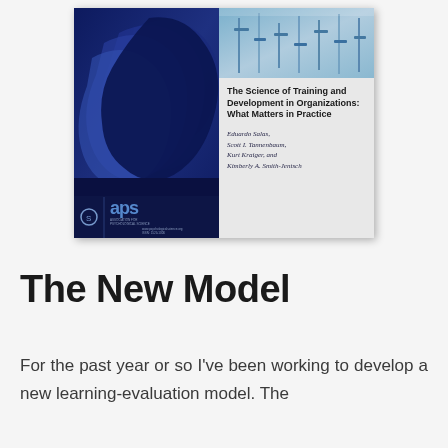[Figure (illustration): Book cover of 'The Science of Training and Development in Organizations: What Matters in Practice' by Eduardo Salas, Scott I. Tannenbaum, Kurt Kraiger, and Kimberly A. Smith-Jentsch, published in APS (Association for Psychological Science). Left half shows layered blue silhouettes of human profiles. Right half shows a top laboratory image and the title/author text on gray background.]
The New Model
For the past year or so I've been working to develop a new learning-evaluation model. The